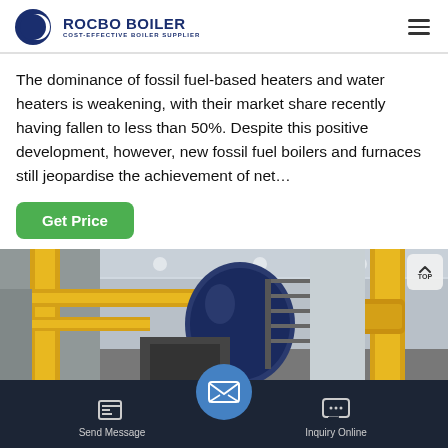[Figure (logo): Rocbo Boiler logo with crescent moon icon and text 'ROCBO BOILER / COST-EFFECTIVE BOILER SUPPLIER' in dark navy blue]
The dominance of fossil fuel-based heaters and water heaters is weakening, with their market share recently having fallen to less than 50%. Despite this positive development, however, new fossil fuel boilers and furnaces still jeopardise the achievement of net…
[Figure (photo): Industrial boiler facility interior with yellow pipework, blue boiler drum, metal staircases, and industrial equipment]
Send Message | Inquiry Online